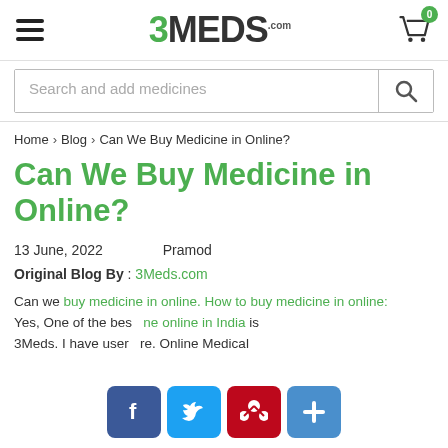[Figure (logo): 3MEDS.com logo with hamburger menu and shopping cart icon with 0 badge]
[Figure (screenshot): Search bar with placeholder 'Search and add medicines' and search icon button]
Home > Blog > Can We Buy Medicine in Online?
Can We Buy Medicine in Online?
13 June, 2022    Pramod
Original Blog By : 3Meds.com
Can we buy medicine in online. How to buy medicine in online: Yes, One of the bes   ne online in India is 3Meds. I have user   re. Online Medical
[Figure (other): Social share buttons: Facebook, Twitter, Pinterest, and Plus]